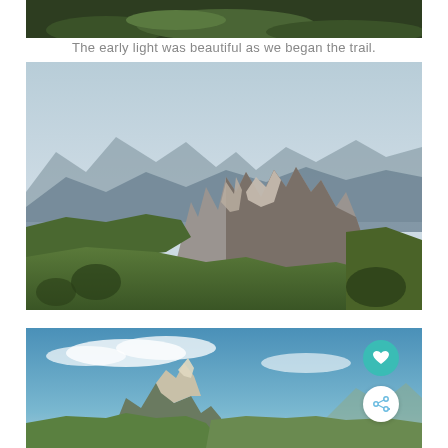[Figure (photo): Partial view of a mountain/forest trail scene, cropped at top of page]
The early light was beautiful as we began the trail.
[Figure (photo): Aerial mountain landscape with jagged rocky peaks, green alpine meadows, and distant mountain ranges under soft morning light]
[Figure (photo): Mountain landscape with prominent rocky peak, green hills, blue sky with clouds, heart and share action buttons overlaid]